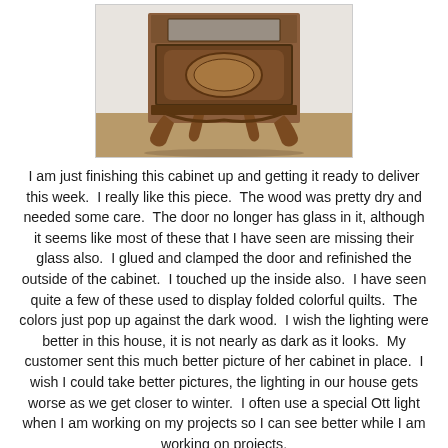[Figure (photo): Photograph of an antique wooden cabinet with ornate carved details, cabriole legs, and a door panel featuring a decorative inlay. The cabinet is photographed against a light wall with wooden flooring visible.]
I am just finishing this cabinet up and getting it ready to deliver this week.  I really like this piece.  The wood was pretty dry and needed some care.  The door no longer has glass in it, although it seems like most of these that I have seen are missing their glass also.  I glued and clamped the door and refinished the outside of the cabinet.  I touched up the inside also.  I have seen quite a few of these used to display folded colorful quilts.  The colors just pop up against the dark wood.  I wish the lighting were better in this house, it is not nearly as dark as it looks.  My customer sent this much better picture of her cabinet in place.  I wish I could take better pictures, the lighting in our house gets worse as we get closer to winter.  I often use a special Ott light when I am working on my projects so I can see better while I am working on projects.